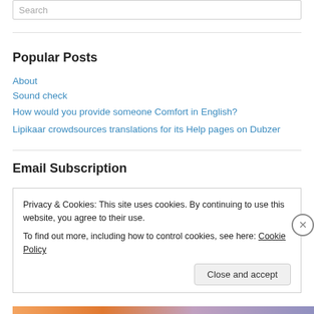Search
Popular Posts
About
Sound check
How would you provide someone Comfort in English?
Lipikaar crowdsources translations for its Help pages on Dubzer
Email Subscription
Privacy & Cookies: This site uses cookies. By continuing to use this website, you agree to their use.
To find out more, including how to control cookies, see here: Cookie Policy
Close and accept